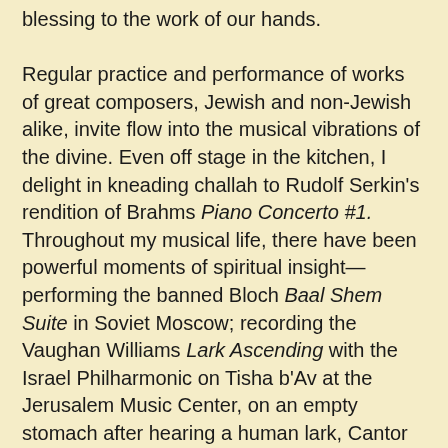blessing to the work of our hands. Regular practice and performance of works of great composers, Jewish and non-Jewish alike, invite flow into the musical vibrations of the divine. Even off stage in the kitchen, I delight in kneading challah to Rudolf Serkin's rendition of Brahms Piano Concerto #1. Throughout my musical life, there have been powerful moments of spiritual insight—performing the banned Bloch Baal Shem Suite in Soviet Moscow; recording the Vaughan Williams Lark Ascending with the Israel Philharmonic on Tisha b'Av at the Jerusalem Music Center, on an empty stomach after hearing a human lark, Cantor Gail Hirschenfang the previous Shabbat; and introducing the Ben-Haim Three Songs Without Words to students in Taiwan. Perhaps the deepest imprint that magnified my sensitivity and appreciation of the role and relationship of music in religious expression was my acquaintance with Rabbi Abraham Joshua Heschel.